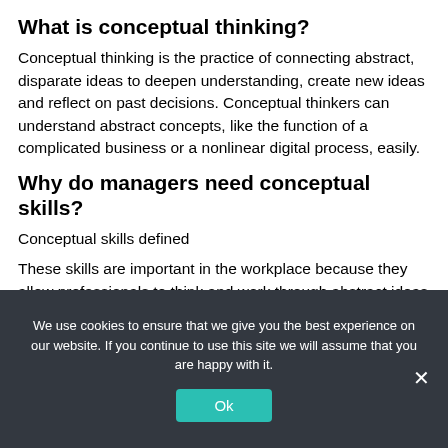What is conceptual thinking?
Conceptual thinking is the practice of connecting abstract, disparate ideas to deepen understanding, create new ideas and reflect on past decisions. Conceptual thinkers can understand abstract concepts, like the function of a complicated business or a nonlinear digital process, easily.
Why do managers need conceptual skills?
Conceptual skills defined
These skills are important in the workplace because they allow professionals to think and work through abstract ideas and come up with multiple solutions to complex issues. The ability to conceptualize
We use cookies to ensure that we give you the best experience on our website. If you continue to use this site we will assume that you are happy with it.